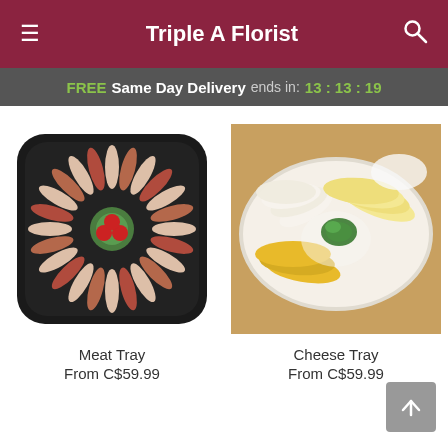Triple A Florist
FREE Same Day Delivery ends in: 13:13:19
[Figure (photo): Meat tray arranged in a circular pattern with rolled deli meats on a black square plate, garnished with lettuce and cherry tomatoes in the center.]
Meat Tray
From C$59.99
[Figure (photo): Cheese tray with assorted sliced cheeses including white, yellow, and pale varieties arranged on a white oval plate, garnished with parsley.]
Cheese Tray
From C$59.99